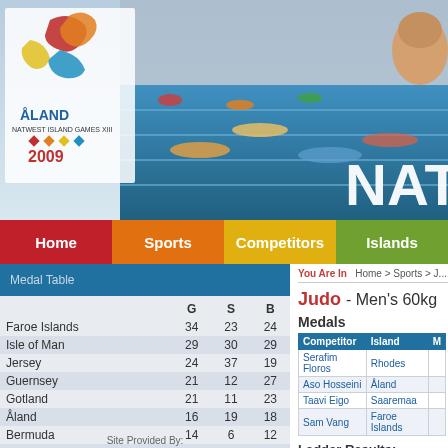[Figure (photo): Åland NatWest Island Games XIII 2009 banner with logo and swimming/athletics photo in the background. NAT text partially visible on the right.]
Home  Sports  Competitors  Islands
Medal Table
|  | G | S | B |
| --- | --- | --- | --- |
| Faroe Islands | 34 | 23 | 24 |
| Isle of Man | 29 | 30 | 29 |
| Jersey | 24 | 37 | 19 |
| Guernsey | 21 | 12 | 27 |
| Gotland | 21 | 11 | 23 |
| Åland | 16 | 19 | 18 |
| Bermuda | 14 | 6 | 12 |
| Menorca | 9 | 7 | 11 |
| Cayman Islands | 7 | 4 | 3 |
| Saaremaa | 6 | 9 | 10 |
Site Provided By:
You Are In   Home > Sports > J...
Judo - Men's 60kg
Medals
| Competitor | Island | M |
| --- | --- | --- |
| Serafim Floros | Rhodes |  |
| Aso Hosseini | Åland |  |
| Taavi Eigo | Saaremaa |  |
| Sam Vang | Faroe Islands |  |
Ladder Results:
| Round of 16 | Quar... |
| --- | --- |